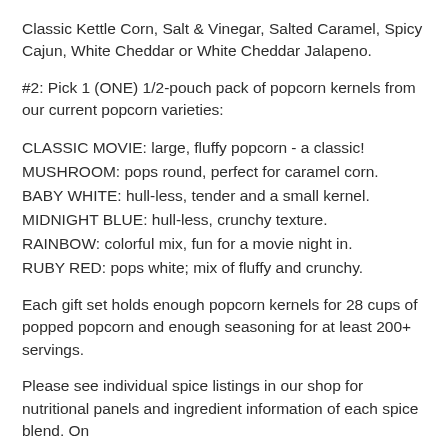Classic Kettle Corn, Salt & Vinegar, Salted Caramel, Spicy Cajun, White Cheddar or White Cheddar Jalapeno.
#2: Pick 1 (ONE) 1/2-pouch pack of popcorn kernels from our current popcorn varieties:
CLASSIC MOVIE: large, fluffy popcorn - a classic!
MUSHROOM: pops round, perfect for caramel corn.
BABY WHITE: hull-less, tender and a small kernel.
MIDNIGHT BLUE: hull-less, crunchy texture.
RAINBOW: colorful mix, fun for a movie night in.
RUBY RED: pops white; mix of fluffy and crunchy.
Each gift set holds enough popcorn kernels for 28 cups of popped popcorn and enough seasoning for at least 200+ servings.
Please see individual spice listings in our shop for nutritional panels and ingredient information of each spice blend. On